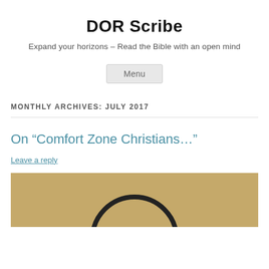DOR Scribe
Expand your horizons – Read the Bible with an open mind
Menu
MONTHLY ARCHIVES: JULY 2017
On “Comfort Zone Christians…”
Leave a reply
[Figure (photo): Partial view of an image with a warm tan/brown background and a dark circular arc visible at the bottom center]